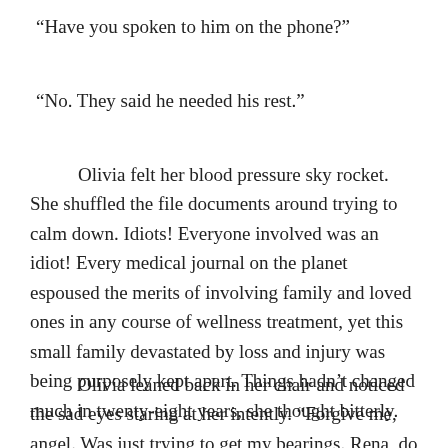“Have you spoken to him on the phone?”
“No. They said he needed his rest.”
Olivia felt her blood pressure sky rocket. She shuffled the file documents around trying to calm down. Idiots! Everyone involved was an idiot! Every medical journal on the planet espoused the merits of involving family and loved ones in any course of wellness treatment, yet this small family devastated by loss and injury was being purposely kept apart. Things hadn’t changed much in twenty-eight years, she thought bitterly.
Olivia leaned back in her chair and noticed the sad eyes staring at her intently. “Forgive me, angel. Was just trying to get my bearings. Rena, do you know